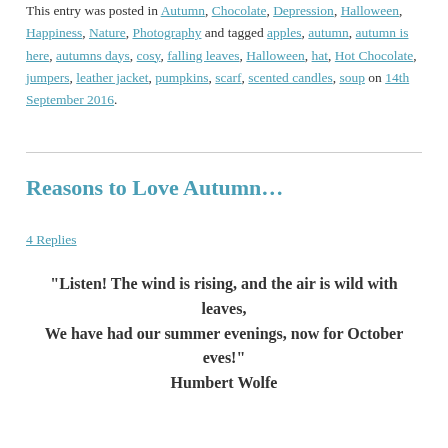This entry was posted in Autumn, Chocolate, Depression, Halloween, Happiness, Nature, Photography and tagged apples, autumn, autumn is here, autumns days, cosy, falling leaves, Halloween, hat, Hot Chocolate, jumpers, leather jacket, pumpkins, scarf, scented candles, soup on 14th September 2016.
Reasons to Love Autumn…
4 Replies
“Listen! The wind is rising, and the air is wild with leaves,
We have had our summer evenings, now for October eves!”
Humbert Wolfe